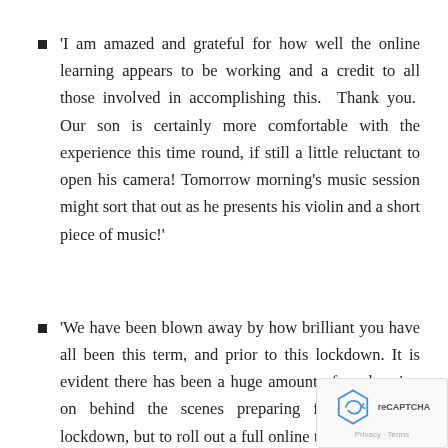'I am amazed and grateful for how well the online learning appears to be working and a credit to all those involved in accomplishing this.  Thank you.  Our son is certainly more comfortable with the experience this time round, if still a little reluctant to open his camera! Tomorrow morning's music session might sort that out as he presents his violin and a short piece of music!'
'We have been blown away by how brilliant you have all been this term, and prior to this lockdown. It is evident there has been a huge amount of work going on behind the scenes preparing for a possible lockdown, but to roll out a full online timetable for all 6 classes with 24 hours notice is incredible! The communication has been fantastic, both from you all in the office, but also from